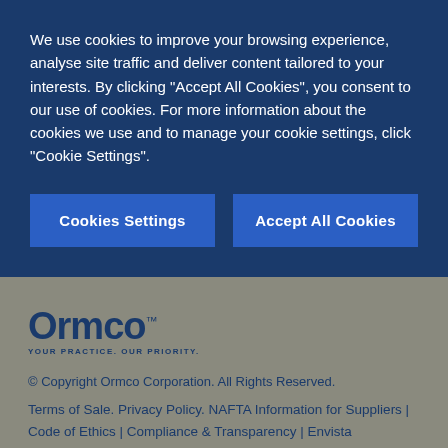We use cookies to improve your browsing experience, analyse site traffic and deliver content tailored to your interests. By clicking "Accept All Cookies", you consent to our use of cookies. For more information about the cookies we use and to manage your cookie settings, click "Cookie Settings".
Cookies Settings
Accept All Cookies
[Figure (logo): Ormco logo with tagline: YOUR PRACTICE. OUR PRIORITY.]
© Copyright Ormco Corporation. All Rights Reserved. Terms of Sale. Privacy Policy. NAFTA Information for Suppliers | Code of Ethics | Compliance & Transparency | Envista